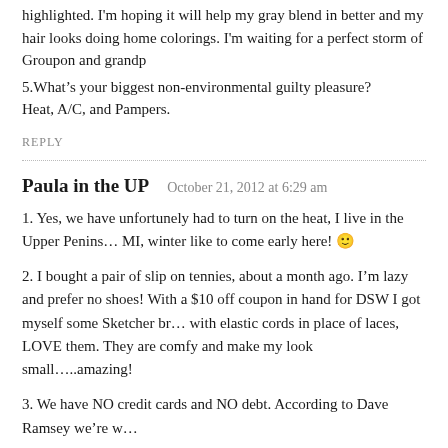highlighted. I'm hoping it will help my gray blend in better and my hair looks doing home colorings. I'm waiting for a perfect storm of Groupon and grandp
5.What's your biggest non-environmental guilty pleasure?
Heat, A/C, and Pampers.
REPLY
Paula in the UP   October 21, 2012 at 6:29 am
1. Yes, we have unfortunely had to turn on the heat, I live in the Upper Peninsula MI, winter like to come early here! 🙂
2. I bought a pair of slip on tennies, about a month ago. I'm lazy and prefer no shoes! With a $10 off coupon in hand for DSW I got myself some Sketcher brand with elastic cords in place of laces, LOVE them. They are comfy and make my look small…..amazing!
3. We have NO credit cards and NO debt. According to Dave Ramsey we're w
4. My haircut and color every 8 weeks. I'm now growing my hair longer so I a to less frequent salon visits, but I still will need to color. I do not appreciate t